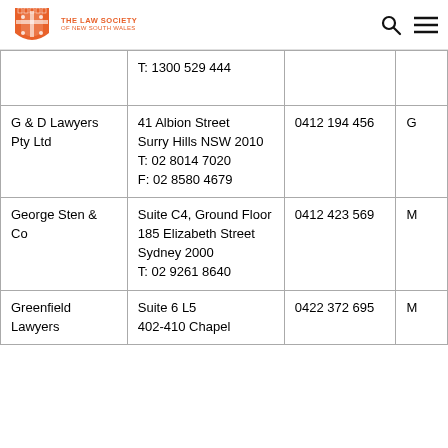The Law Society of New South Wales
| Firm | Address | Phone |  |
| --- | --- | --- | --- |
|  | T: 1300 529 444 |  |  |
| G & D Lawyers Pty Ltd | 41 Albion Street
Surry Hills NSW 2010
T: 02 8014 7020
F: 02 8580 4679 | 0412 194 456 | G |
| George Sten & Co | Suite C4, Ground Floor
185 Elizabeth Street
Sydney 2000
T: 02 9261 8640 | 0412 423 569 | M |
| Greenfield Lawyers | Suite 6 L5
402-410 Chapel | 0422 372 695 | M |